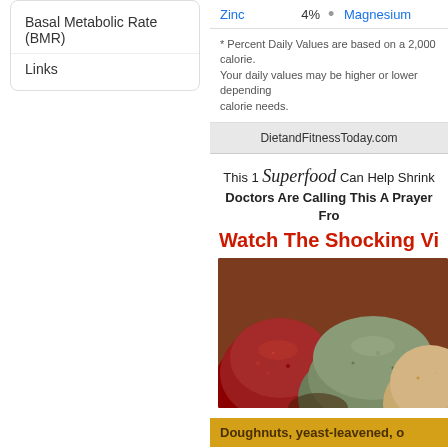Basal Metabolic Rate (BMR)
Links
| Nutrient | DV% |  | Nutrient |
| --- | --- | --- | --- |
| Zinc | 4% | • | Magnesium |
* Percent Daily Values are based on a 2,000 calorie. Your daily values may be higher or lower depending calorie needs.
DietandFitnessToday.com
This 1 Superfood Can Help Shrink Doctors Are Calling This A Prayer Fro
Watch The Shocking Vi
[Figure (photo): Close-up photo of various dried spices and grains in sacks or mounds, showing rich red, brown, and beige colors]
Doughnuts, yeast-leavened, o